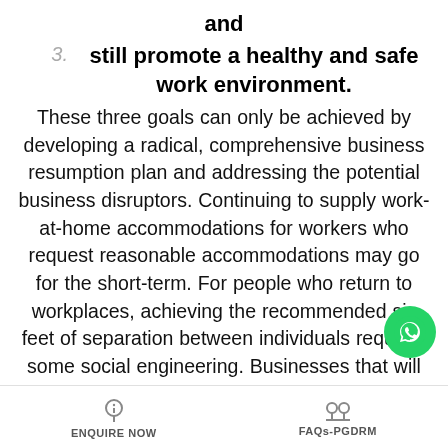and
3.    still promote a healthy and safe work environment.
These three goals can only be achieved by developing a radical, comprehensive business resumption plan and addressing the potential business disruptors. Continuing to supply work-at-home accommodations for workers who request reasonable accommodations may go for the short-term. For people who return to workplaces, achieving the recommended six feet of separation between individuals requires some social engineering. Businesses that will get their doors open, communicate frequently with their customers, and take steps to strengthen their supply chains will recover faster than businesses that are slower to retort. This implies facilities must ensure they're freed from
ENQUIRE NOW    FAQs-PGDRM